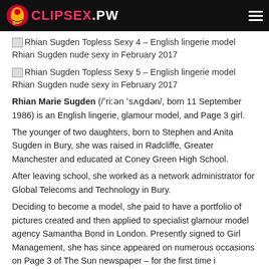CLIPSEX.PW
[Figure (photo): Broken image placeholder with alt text: Rhian Sugden Topless Sexy 4 – English lingerie model Rhian Sugden nude sexy in February 2017]
[Figure (photo): Broken image placeholder with alt text: Rhian Sugden Topless Sexy 5 – English lingerie model Rhian Sugden nude sexy in February 2017]
Rhian Marie Sugden (/ˈriːən ˈsʌɡdən/, born 11 September 1986) is an English lingerie, glamour model, and Page 3 girl.
The younger of two daughters, born to Stephen and Anita Sugden in Bury, she was raised in Radcliffe, Greater Manchester and educated at Coney Green High School.
After leaving school, she worked as a network administrator for Global Telecoms and Technology in Bury.
Deciding to become a model, she paid to have a portfolio of pictures created and then applied to specialist glamour model agency Samantha Bond in London. Presently signed to Girl Management, she has since appeared on numerous occasions on Page 3 of The Sun newspaper – for the first time in August 2006, and she is now an occasional Page 3 Idol.